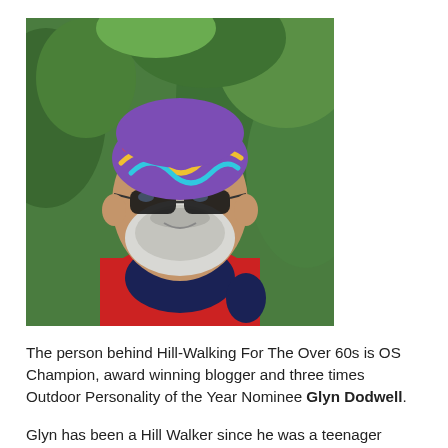[Figure (photo): A man wearing colorful Lunaband headwear and dark sunglasses, smiling, with a red backpack and green foliage background — Glyn Dodwell]
The person behind Hill-Walking For The Over 60s is OS Champion, award winning blogger and three times Outdoor Personality of the Year Nominee Glyn Dodwell.
Glyn has been a Hill Walker since he was a teenager